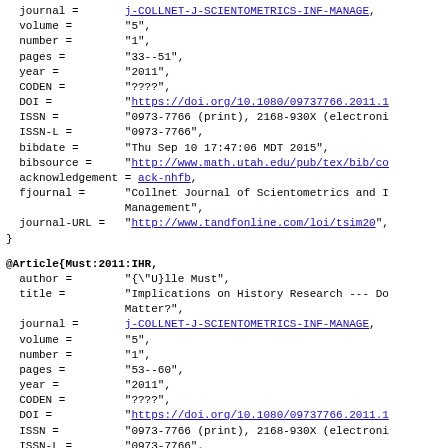journal =       j-COLLNET-J-SCIENTOMETRICS-INF-MANAGE,
  volume =        "5",
  number =        "1",
  pages =         "33--51",
  year =          "2011",
  CODEN =         "????",
  DOI =           "https://doi.org/10.1080/09737766.2011.1...
  ISSN =          "0973-7766 (print), 2168-930X (electroni...
  ISSN-L =        "0973-7766",
  bibdate =       "Thu Sep 10 17:47:06 MDT 2015",
  bibsource =     "http://www.math.utah.edu/pub/tex/bib/co...
  acknowledgement = ack-nhfb,
  fjournal =      "Collnet Journal of Scientometrics and I
Management",
  journal-URL =   "http://www.tandfonline.com/loi/tsim20",
}
@Article{Must:2011:IHR,
  author =        "{\"U}lle Must",
  title =         "Implications on History Research --- Do
Matter?",
  journal =       j-COLLNET-J-SCIENTOMETRICS-INF-MANAGE,
  volume =        "5",
  number =        "1",
  pages =         "53--60",
  year =          "2011",
  CODEN =         "????",
  DOI =           "https://doi.org/10.1080/09737766.2011.1...
  ISSN =          "0973-7766 (print), 2168-930X (electroni...
  ISSN-L =        "0973-7766",
  bibdate =       "Thu Sep 10 17:47:06 MDT 2015",